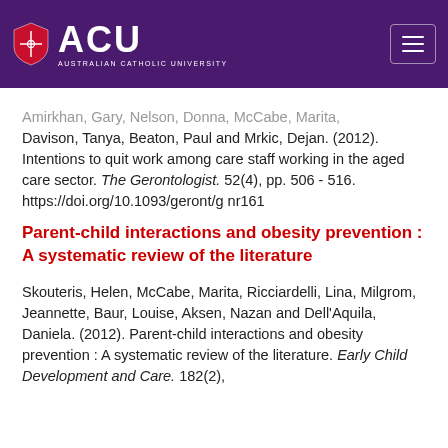[Figure (logo): ACU (Australian Catholic University) logo in purple header with hamburger menu button]
Amirkhan, Gary, Nelson, Donna, McCabe, Marita, Davison, Tanya, Beaton, Paul and Mrkic, Dejan. (2012). Intentions to quit work among care staff working in the aged care sector. The Gerontologist. 52(4), pp. 506 - 516. https://doi.org/10.1093/geront/gnr161
Parent-child interactions and obesity prevention : A systematic review of the literature
Skouteris, Helen, McCabe, Marita, Ricciardelli, Lina, Milgrom, Jeannette, Baur, Louise, Aksen, Nazan and Dell'Aquila, Daniela. (2012). Parent-child interactions and obesity prevention : A systematic review of the literature. Early Child Development and Care. 182(2),